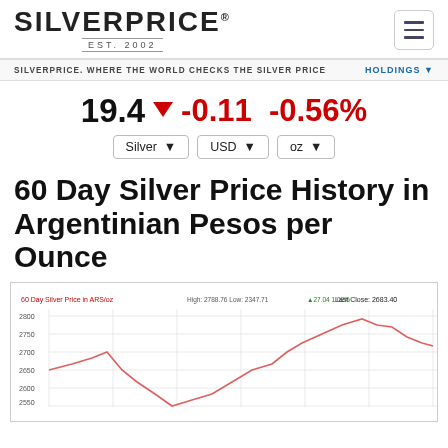SILVERPRICE EST. 2002
SILVERPRICE. WHERE THE WORLD CHECKS THE SILVER PRICE    HOLDINGS
19.4 ▼ -0.11 -0.56%
Silver | USD | oz
60 Day Silver Price History in Argentinian Pesos per Ounce
[Figure (line-chart): Line chart showing 60-day silver price history in ARS/oz. High: 2788.76, Low: 2347.71, +27.04, 1.02%, Last Close: 2683.40. Y-axis ranges from approximately 2500 to 2800. The line starts around 2650, peaks near 2700, dips to a low near 2347 in the middle period, then rises sharply to a high near 2788 before ending around 2683.]